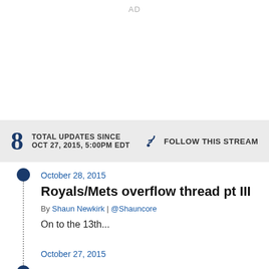AD
8 TOTAL UPDATES SINCE OCT 27, 2015, 5:00PM EDT FOLLOW THIS STREAM
October 28, 2015
Royals/Mets overflow thread pt III
By Shaun Newkirk | @Shauncore
On to the 13th...
October 27, 2015